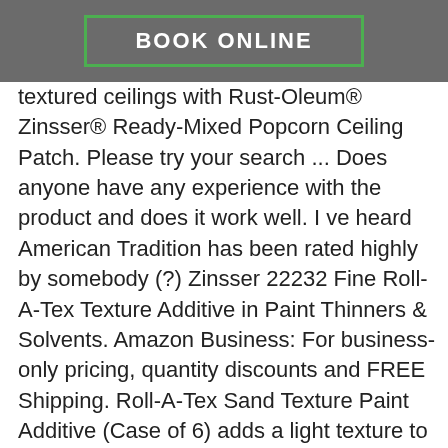BOOK ONLINE
textured ceilings with Rust-Oleum® Zinsser® Ready-Mixed Popcorn Ceiling Patch. Please try your search ... Does anyone have any experience with the product and does it work well. I ve heard American Tradition has been rated highly by somebody (?) Zinsser 22232 Fine Roll-A-Tex Texture Additive in Paint Thinners & Solvents. Amazon Business: For business-only pricing, quantity discounts and FREE Shipping. Roll-A-Tex Sand Texture Paint Additive (Case of 6) adds a light texture to surfaces. Fine Texture Additive. This high performance one pound dry formula permanently fills cracks, instantly hides flaws and beautifies any surface. For use on drywall, plaster, cement block, poured concrete, stucco, brick or wood. Roll-A-Tex Fine T1 - 1lb. Find answers in product info, Q&As, reviews There was a problem